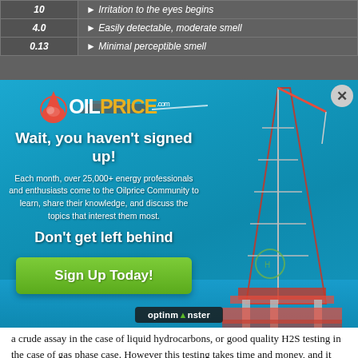| Level | Description |
| --- | --- |
| 10 | Irritation to the eyes begins |
| 4.0 | Easily detectable, moderate smell |
| 0.13 | Minimal perceptible smell |
[Figure (screenshot): OilPrice.com popup modal over an ocean oil rig background. Contains logo, headline 'Wait, you haven't signed up!', subtext about 25,000+ energy professionals, tagline 'Don't get left behind', and green 'Sign Up Today!' button. OptinMonster branding at bottom.]
a crude assay in the case of liquid hydrocarbons, or good quality H2S testing in the case of gas phase case. However this testing takes time and money, and it wasn't conducted in this case (both Exxon and the US government agree on this point in this case). The US government paid a small fee to deal with the extra cost of refining the